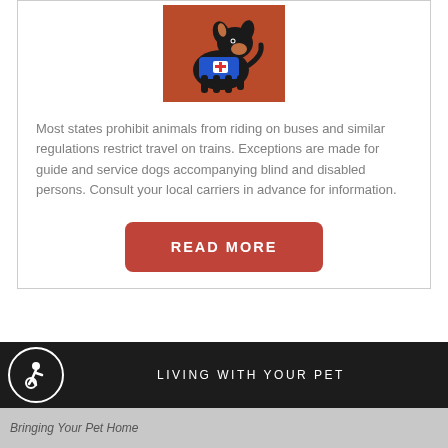[Figure (photo): Small black and tan dog (Chihuahua) wearing a blue service animal vest with a medical cross emblem, standing on a red surface.]
Most states prohibit animals from riding on buses and similar regulations restrict travel on trains. Exceptions are made for guide and service dogs accompanying blind and disabled persons. Consult your local carriers in advance for information.
[Figure (other): Red rounded rectangle button with white bold uppercase text reading 'READ MORE']
[Figure (other): Dark/black footer bar with white accessibility icon (person in wheelchair in circle) on the left and white uppercase text 'LIVING WITH YOUR PET' centered]
LIVING WITH YOUR PET
Bringing Your Pet Home